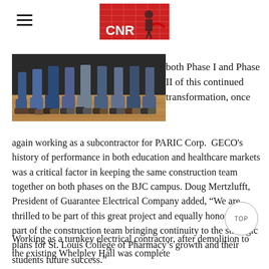CNR [logo]
[Figure (photo): Photo of people's legs and feet standing on a wooden floor, likely at an event or ceremony]
both Phase I and Phase II of this continued transformation, once again working as a subcontractor for PARIC Corp. GECO's history of performance in both education and healthcare markets was a critical factor in keeping the same construction team together on both phases on the BJC campus. Doug Mertzlufft, President of Guarantee Electrical Company added, “We are thrilled to be part of this great project and equally honored to be part of the construction team bringing continuity to the strategic plans for St. Louis College of Pharmacy’s growth and their students future success.”
Working as a turnkey electrical contractor, after demolition to the existing Whelpley Hall was complete